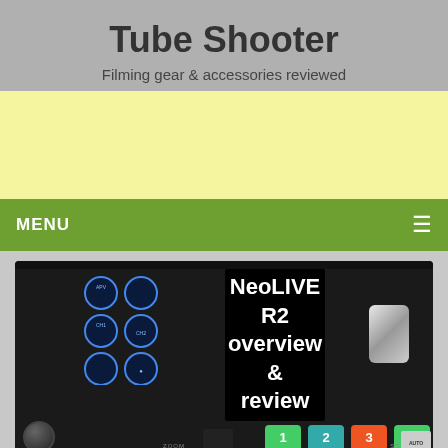Tube Shooter
Filming gear & accessories reviewed
[Figure (other): Yellow advertisement banner area]
MENU ≡
[Figure (photo): Photo of a NeoLIVE R2 video switcher device with a screen displaying 'NeoLIVE R2 overview & review', with blue circular buttons on the left panel, colored numbered buttons (1, 2, 3, 4) on the bottom, and a silver knob on the right]